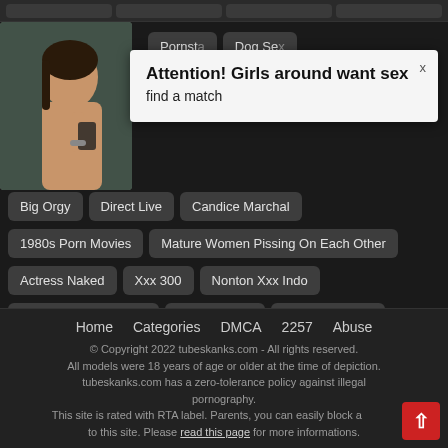[Figure (screenshot): Partial photo of a woman visible behind popup]
Attention! Girls around want sex
find a match
Pornsta...
Dog Sex
Big Orgy
Direct Live
Candice Marchal
1980s Porn Movies
Mature Women Pissing On Each Other
Actress Naked
Xxx 300
Nonton Xxx Indo
Cate Blanchette Nude
Toket Dientot
Tiny Camel Toe
18teensporn
Home   Categories   DMCA   2257   Abuse
© Copyright 2022 tubeskanks.com - All rights reserved.
All models were 18 years of age or older at the time of depiction.
tubeskanks.com has a zero-tolerance policy against illegal pornography.
This site is rated with RTA label. Parents, you can easily block access to this site. Please read this page for more informations.